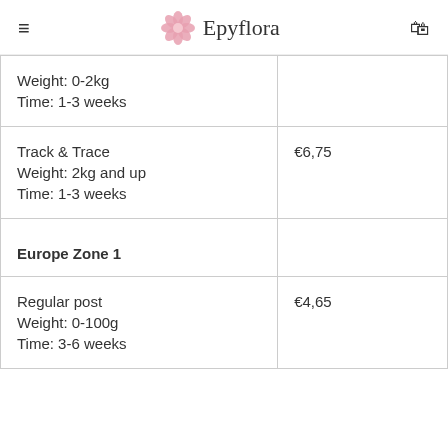Epyflora
| Weight: 0-2kg
Time: 1-3 weeks |  |
| Track & Trace
Weight: 2kg and up
Time: 1-3 weeks | €6,75 |
| Europe Zone 1 |  |
| Regular post
Weight: 0-100g
Time: 3-6 weeks | €4,65 |